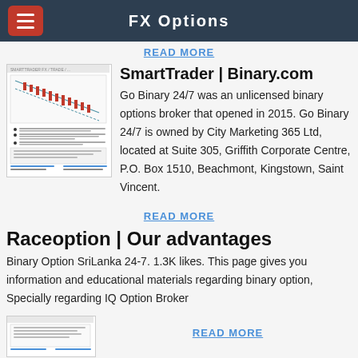FX Options
READ MORE
SmartTrader | Binary.com
Go Binary 24/7 was an unlicensed binary options broker that opened in 2015. Go Binary 24/7 is owned by City Marketing 365 Ltd, located at Suite 305, Griffith Corporate Centre, P.O. Box 1510, Beachmont, Kingstown, Saint Vincent.
READ MORE
Raceoption | Our advantages
Binary Option SriLanka 24-7. 1.3K likes. This page gives you information and educational materials regarding binary option, Specially regarding IQ Option Broker
[Figure (screenshot): Thumbnail screenshot of a trading chart page]
READ MORE